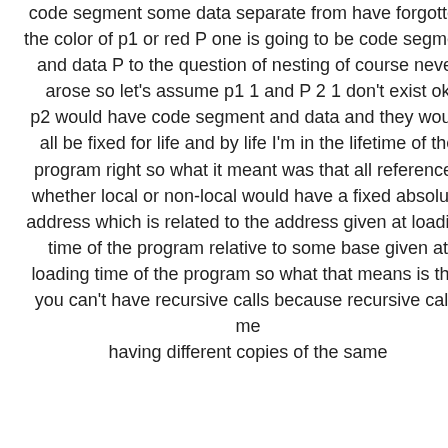code segment some data separate from have forgotten the color of p1 or red P one is going to be code segment and data P to the question of nesting of course never arose so let's assume p1 1 and P 2 1 don't exist ok p2 would have code segment and data and they would all be fixed for life and by life I'm in the lifetime of the program right so what it meant was that all references whether local or non-local would have a fixed absolute address which is related to the address given at loading time of the program relative to some base given at loading time of the program so what that means is that you can't have recursive calls because recursive calls me having different copies of the same